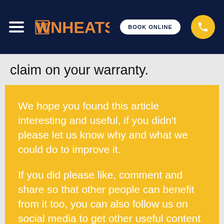WNHEATSY | BOOK ONLINE | phone
claim on your warranty.
We hope you found this article interesting and useful, if you didn't please let us know why and what we could do to improve it.

If you did please like, comment and share so that other people can benefit from it too, you can also follow us on social media to get other useful content as it's publish or sign